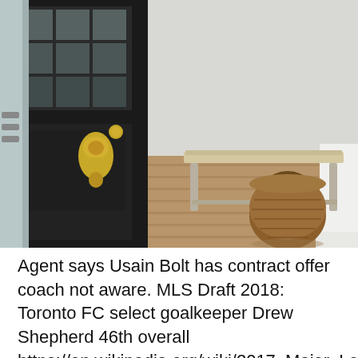[Figure (photo): Interior entryway photo showing a black Dutch door with gold brass hardware and glass panes at the top, opened inward. In the background is a light wood bench against a white wall, with a brown wicker basket beside it on hardwood flooring.]
Agent says Usain Bolt has contract offer coach not aware. MLS Draft 2018: Toronto FC select goalkeeper Drew Shepherd 46th overall https://en.wikipedia.org/wiki/2017_Major_League_S…